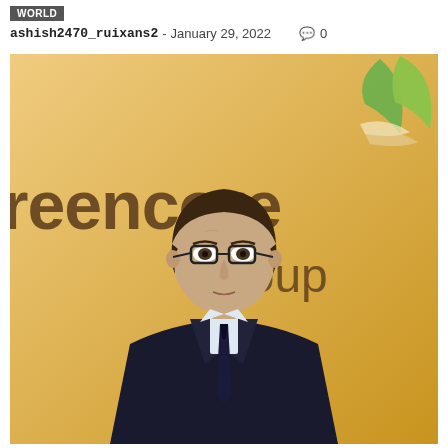WORLD
ashish2470_ruixans2 - January 29, 2022  💬 0
[Figure (photo): A man in a dark suit and tie wearing glasses, standing in front of a Greencore Group branded backdrop with a golden/cream background and a green leaf logo in the upper right corner. The text 'reencore group' is visible on the wall behind him.]